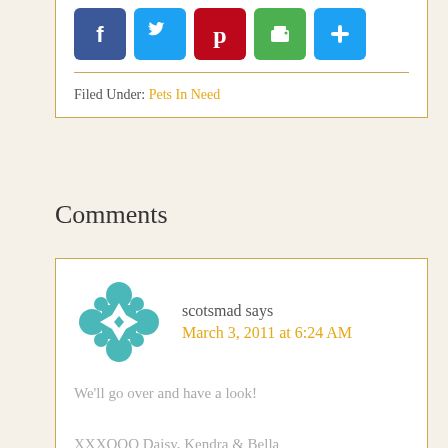[Figure (infographic): Social sharing buttons: Facebook (blue), Twitter (light blue), Pinterest (red), Print (green), Share/Plus (blue)]
Filed Under: Pets In Need
Comments
scotsmad says
March 3, 2011 at 6:24 AM

We'll go over and have a look!

XXXOOO Daisy, Kendra & Bella